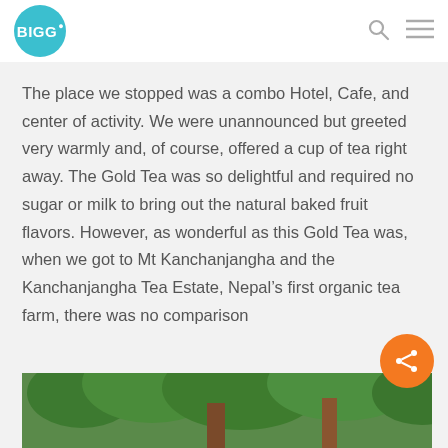BIGG
The place we stopped was a combo Hotel, Cafe, and center of activity. We were unannounced but greeted very warmly and, of course, offered a cup of tea right away. The Gold Tea was so delightful and required no sugar or milk to bring out the natural baked fruit flavors. However, as wonderful as this Gold Tea was, when we got to Mt Kanchanjangha and the Kanchanjangha Tea Estate, Nepal’s first organic tea farm, there was no comparison
[Figure (photo): Photo of green foliage/trees, partially visible at the bottom of the page]